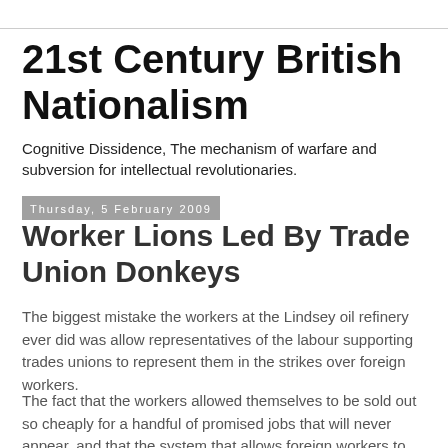21st Century British Nationalism
Cognitive Dissidence, The mechanism of warfare and subversion for intellectual revolutionaries.
Thursday, 5 February 2009
Worker Lions Led By Trade Union Donkeys
The biggest mistake the workers at the Lindsey oil refinery ever did was allow representatives of the labour supporting trades unions to represent them in the strikes over foreign workers.
The fact that the workers allowed themselves to be sold out so cheaply for a handful of promised jobs that will never appear, and that the system that allows foreign workers to